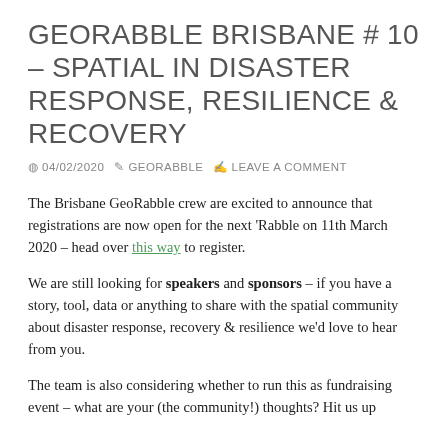GEORABBLE BRISBANE #10 – SPATIAL IN DISASTER RESPONSE, RESILIENCE & RECOVERY
04/02/2020  GEORABBLE  LEAVE A COMMENT
The Brisbane GeoRabble crew are excited to announce that registrations are now open for the next 'Rabble on 11th March 2020 – head over this way to register.
We are still looking for speakers and sponsors – if you have a story, tool, data or anything to share with the spatial community about disaster response, recovery & resilience we'd love to hear from you.
The team is also considering whether to run this as fundraising event – what are your (the community!) thoughts? Hit us up